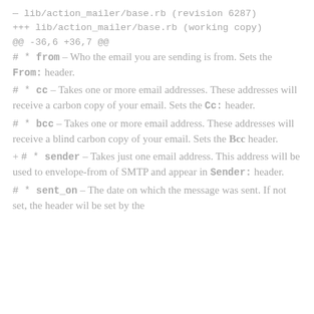— lib/action_mailer/base.rb (revision 6287)
+++ lib/action_mailer/base.rb (working copy)
@@ -36,6 +36,7 @@
# * from – Who the email you are sending is from. Sets the From: header.
# * cc – Takes one or more email addresses. These addresses will receive a carbon copy of your email. Sets the Cc: header.
# * bcc – Takes one or more email address. These addresses will receive a blind carbon copy of your email. Sets the Bcc header.
+ # * sender – Takes just one email address. This address will be used to envelope-from of SMTP and appear in Sender: header.
# * sent_on – The date on which the message was sent. If not set, the header wil be set by the